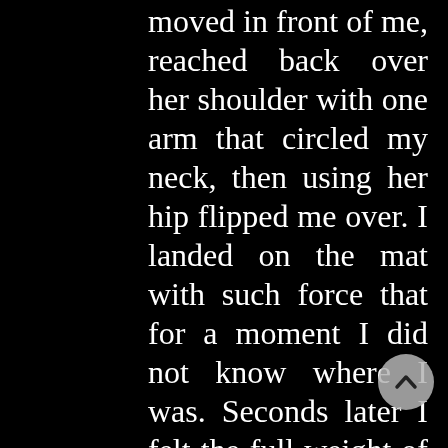moved in front of me, reached back over her shoulder with one arm that circled my neck, then using her hip flipped me over. I landed on the mat with such force that for a moment I did not know where I was. Seconds later I felt the full weight of her body fall on me and the br[eath] was knocked out of my
[Figure (other): Circular scroll-up navigation button (chevron/caret icon pointing upward) positioned in the lower right area of the page]